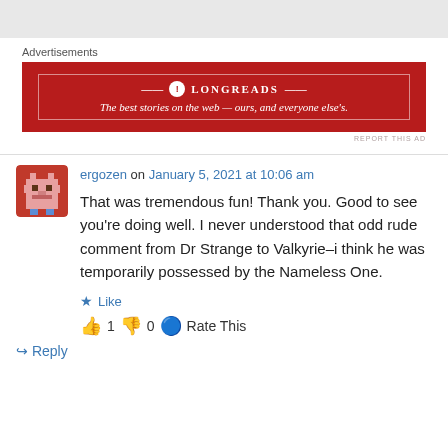[Figure (other): Gray header bar at top of page]
Advertisements
[Figure (other): Longreads advertisement banner: red background with white border, logo and text 'The best stories on the web — ours, and everyone else's.']
ergozen on January 5, 2021 at 10:06 am
That was tremendous fun! Thank you. Good to see you're doing well. I never understood that odd rude comment from Dr Strange to Valkyrie–i think he was temporarily possessed by the Nameless One.
Like
1  0  Rate This
Reply